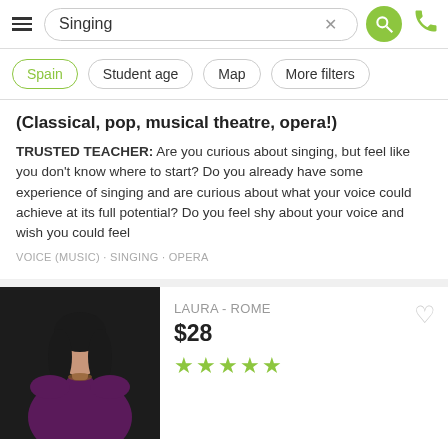Singing
Spain
Student age
Map
More filters
(Classical, pop, musical theatre, opera!)
TRUSTED TEACHER: Are you curious about singing, but feel like you don't know where to start? Do you already have some experience of singing and are curious about what your voice could achieve at its full potential? Do you feel shy about your voice and wish you could feel
VOICE (MUSIC) · SINGING · OPERA
LAURA - ROME
$28
Opera Singing; Belcanto; Lyric Repertoire; Italian, Russian, French, German Pronounciation in singing.
TRUSTED TEACHER: Belcanto - Beautiful singing. Is an art that permits us to tell the story of the librettist and the composer in the finest view. I studied singing and working as an Opera singer 12 years ago with the best Maestros in the Italian school. I would love to share my experience